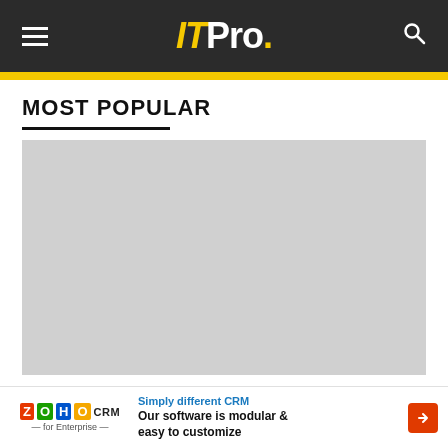ITPro.
MOST POPULAR
[Figure (photo): Gray placeholder image for most popular article]
RANSOMWARE
[Figure (other): Zoho CRM advertisement banner: Simply different CRM. Our software is modular & easy to customize]